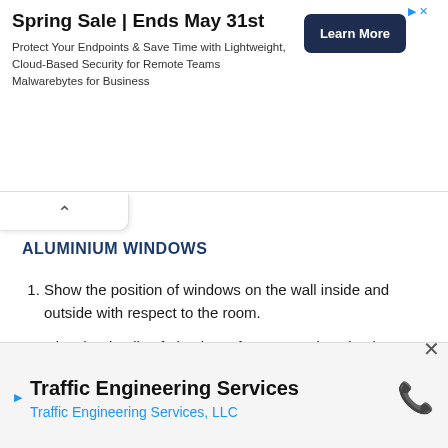[Figure (other): Advertisement banner: Spring Sale | Ends May 31st - Protect Your Endpoints & Save Time with Lightweight, Cloud-Based Security for Remote Teams Malwarebytes for Business with a 'Learn More' button]
[Figure (other): Collapsed navigation bar with up-arrow chevron button]
ALUMINIUM WINDOWS
Show the position of windows on the wall inside and outside with respect to the room.
Give the details of aluminum frames, tracks, aluminum shutters, etc.
Show the vertical sections of the
[Figure (other): Bottom advertisement: Traffic Engineering Services - Traffic Engineering Services, LLC with phone icon]